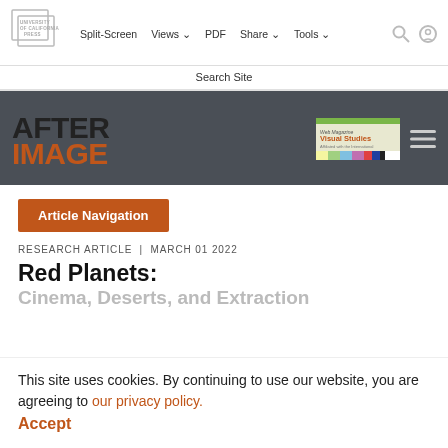[Figure (screenshot): University of California Press logo in top-left navigation bar]
Split-Screen   Views ∨   PDF   Share ∨   Tools ∨
Search Site
[Figure (logo): Afterimage journal logo in orange and black on dark gray banner, with Visual Studies banner image and hamburger menu]
Article Navigation
RESEARCH ARTICLE  |  MARCH 01 2022
Red Planets:
Cinema, Deserts, and Extraction
This site uses cookies. By continuing to use our website, you are agreeing to our privacy policy. Accept